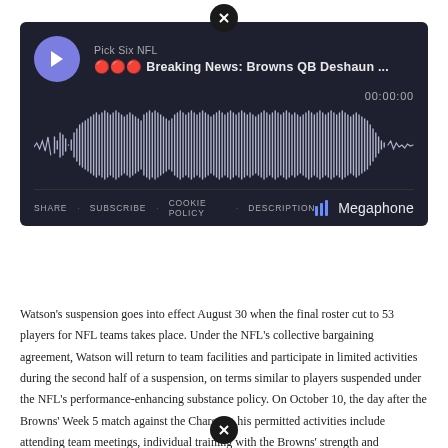[Figure (screenshot): Megaphone podcast player widget on dark background showing 'Pick Six NFL' podcast with episode title '🔴 Breaking News: Browns QB Deshaun ...' with audio waveform visualization, timestamp 00:00:00, and footer links: SHARE, SUBSCRIBE, COOKIE POLICY, DESCRIPTION, and Megaphone logo.]
Watson's suspension goes into effect August 30 when the final roster cut to 53 players for NFL teams takes place. Under the NFL's collective bargaining agreement, Watson will return to team facilities and participate in limited activities during the second half of a suspension, on terms similar to players suspended under the NFL's performance-enhancing substance policy. On October 10, the day after the Browns' Week 5 match against the Chargers, his permitted activities include attending team meetings, individual training with the Browns' strength and conditioning coach, and individual meetings